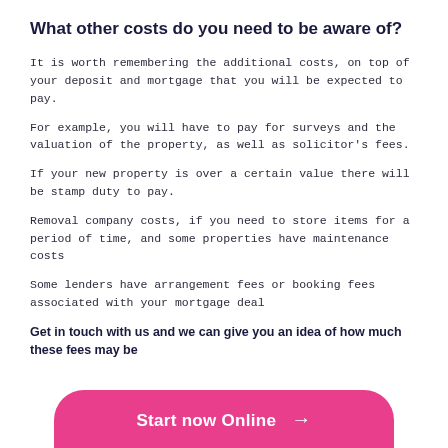What other costs do you need to be aware of?
It is worth remembering the additional costs, on top of your deposit and mortgage that you will be expected to pay.
For example, you will have to pay for surveys and the valuation of the property, as well as solicitor's fees.
If your new property is over a certain value there will be stamp duty to pay.
Removal company costs, if you need to store items for a period of time, and some properties have maintenance costs
Some lenders have arrangement fees or booking fees associated with your mortgage deal
Get in touch with us and we can give you an idea of how much these fees may be
[Figure (other): Pink rounded button with white text 'Start now Online →']